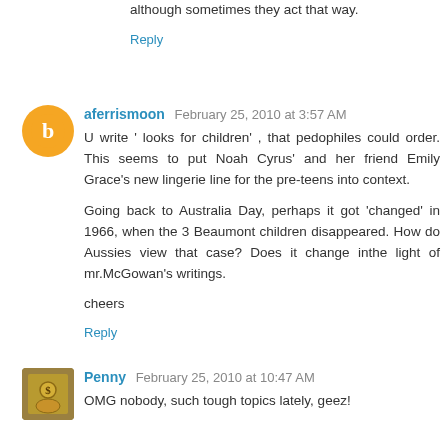although sometimes they act that way.
Reply
aferrismoon February 25, 2010 at 3:57 AM
U write ' looks for children' , that pedophiles could order. This seems to put Noah Cyrus' and her friend Emily Grace's new lingerie line for the pre-teens into context.

Going back to Australia Day, perhaps it got 'changed' in 1966, when the 3 Beaumont children disappeared. How do Aussies view that case? Does it change inthe light of mr.McGowan's writings.

cheers
Reply
Penny February 25, 2010 at 10:47 AM
OMG nobody, such tough topics lately, geez!